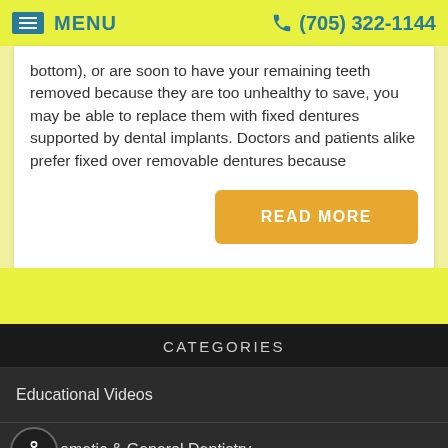MENU  (705) 322-1144
bottom), or are soon to have your remaining teeth removed because they are too unhealthy to save, you may be able to replace them with fixed dentures supported by dental implants. Doctors and patients alike prefer fixed over removable dentures because
READ MORE
CATEGORIES
Educational Videos
ometic & General Dentistry